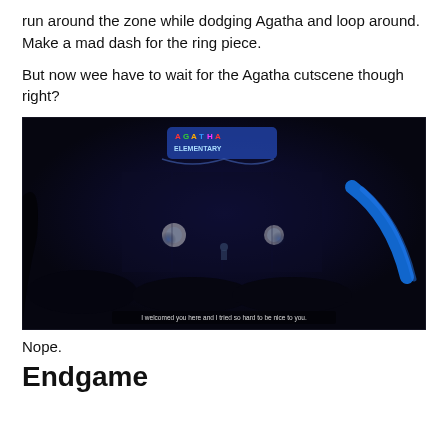run around the zone while dodging Agatha and loop around. Make a mad dash for the ring piece.
But now wee have to wait for the Agatha cutscene though right?
[Figure (screenshot): A dark game screenshot showing a dimly lit school hallway or gymnasium interior at night. A sign reading 'AGATHA ELEMENTARY' is visible at the top center with colorful letters. Two glowing blue lights illuminate the scene from the middle area. A blue slide or ramp is visible on the right side. Subtitle text at the bottom reads: 'I welcomed you here and I tried so hard to be nice to you.']
Nope.
Endgame